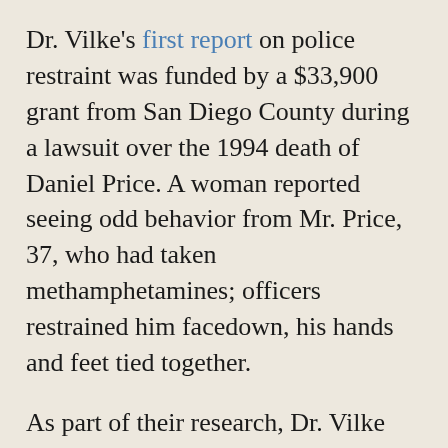Dr. Vilke's first report on police restraint was funded by a $33,900 grant from San Diego County during a lawsuit over the 1994 death of Daniel Price. A woman reported seeing odd behavior from Mr. Price, 37, who had taken methamphetamines; officers restrained him facedown, his hands and feet tied together.
As part of their research, Dr. Vilke and others hogtied healthy volunteers. They observed that measurements of their